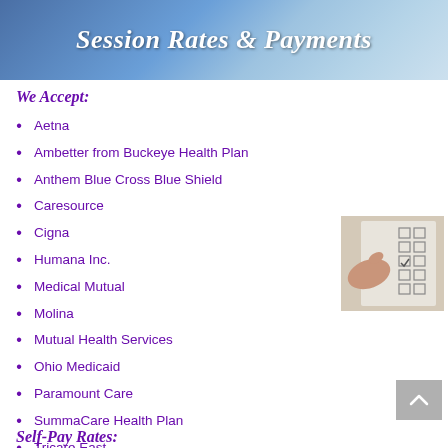Session Rates & Payments
We Accept:
Aetna
Ambetter from Buckeye Health Plan
Anthem Blue Cross Blue Shield
Caresource
Cigna
Humana Inc.
Medical Mutual
Molina
Mutual Health Services
Ohio Medicaid
Paramount Care
SummaCare Health Plan
Tricare East
UnitedHealthcare Community Plan
United Healthcare/Optum
[Figure (photo): Hand holding pen checking checkboxes on a form/checklist]
Self-Pay Rates: